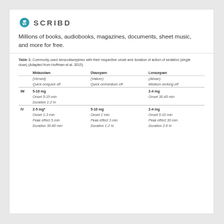[Figure (logo): Scribd logo with teal S icon and SCRIBD text]
Millions of books, audiobooks, magazines, documents, sheet music, and more for free.
Table 1: Commonly used benzodiazepines with their respective onset and duration of action of sedation (single dose) (Adapted from Hoffman et al. 2015)
|  | Midazolam | Diazepam | Lorazepam |
| --- | --- | --- | --- |
|  | (Versed) | (Valium) | (Ativan) |
|  | Quick on/quick off | Quick on/medium off | Medium on/long off |
| IM | 5-10 mg |  | 2-4 mg |
|  | Onset 5-15 min |  | Onset 30-45 min |
|  | Duration 1-2 hr |  |  |
| IV | 2-5 mg* | 5-10 mg | 2-4 mg |
|  | Onset 1-3 min | Onset 1 min | Onset 5-10 min |
|  | Peak effect 5 min | Peak effect 3 min | Peak effect 30 min |
|  | Duration 30-80 min | Duration 1-2 hr | Duration 2-6 hr |